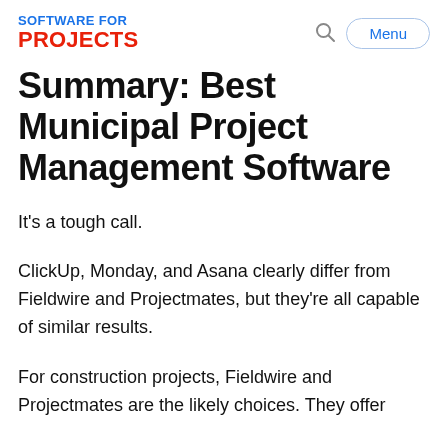SOFTWARE FOR PROJECTS
Summary: Best Municipal Project Management Software
It's a tough call.
ClickUp, Monday, and Asana clearly differ from Fieldwire and Projectmates, but they're all capable of similar results.
For construction projects, Fieldwire and Projectmates are the likely choices. They offer